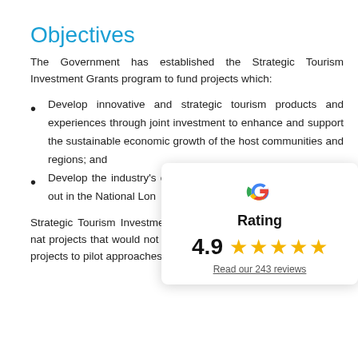Objectives
The Government has established the Strategic Tourism Investment Grants program to fund projects which:
Develop innovative and strategic tourism products and experiences through joint investment to enhance and support the sustainable economic growth of the host communities and regions; and
Develop the industry's capacity to address the principles set out in the National Lon
Strategic Tourism Investment Gra targeted seed investment for nat projects that would not have progre is proposed to use these projects to pilot approaches that could
[Figure (infographic): Google rating card overlay showing a Google 'G' logo, the word 'Rating', a score of 4.9 with 5 gold stars, and a link 'Read our 243 reviews']